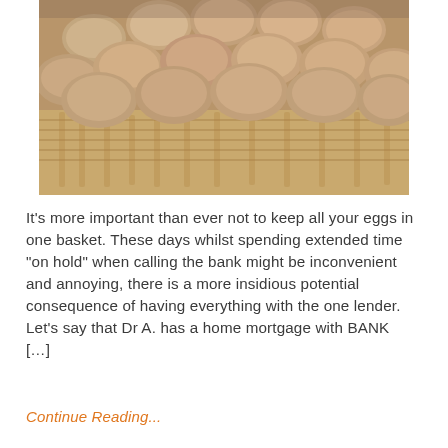[Figure (photo): Close-up photograph of brown eggs piled in a woven wicker basket, with a blue polka-dot cloth visible at the bottom left corner.]
It's more important than ever not to keep all your eggs in one basket. These days whilst spending extended time “on hold” when calling the bank might be inconvenient and annoying, there is a more insidious potential consequence of having everything with the one lender. Let’s say that Dr A. has a home mortgage with BANK […]
Continue Reading...